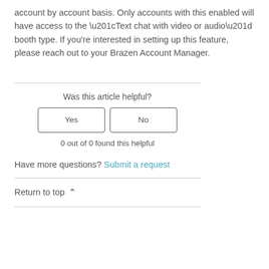account by account basis. Only accounts with this enabled will have access to the “Text chat with video or audio” booth type. If you're interested in setting up this feature, please reach out to your Brazen Account Manager.
Was this article helpful?
Yes
No
0 out of 0 found this helpful
Have more questions? Submit a request
Return to top